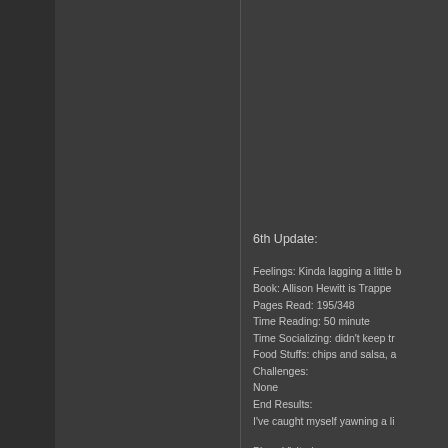6th Update:
Feelings: Kinda lagging a little b
Book: Allison Hewitt is Trappe
Pages Read: 195/348
Time Reading: 50 minute
Time Socializing: didn't keep tr
Food Stuffs: chips and salsa, a
Challenges:
None
End Results:
I've caught myself yawning a li
Blogs Visited:
24hourreadathon.com